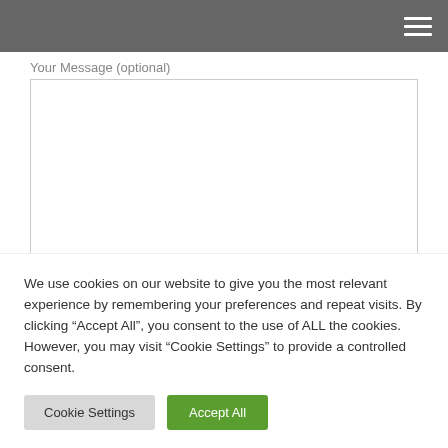Your Message (optional)
We use cookies on our website to give you the most relevant experience by remembering your preferences and repeat visits. By clicking “Accept All”, you consent to the use of ALL the cookies. However, you may visit "Cookie Settings" to provide a controlled consent.
Cookie Settings | Accept All